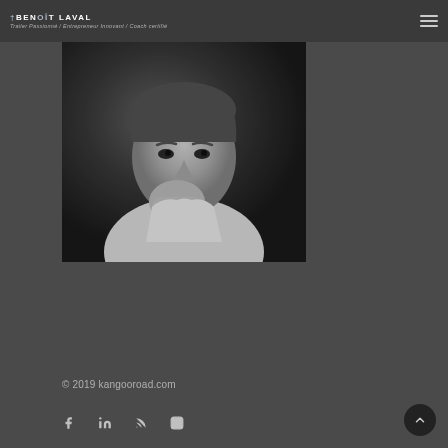BENOÎT LAVAL — Trailer Passionné / Entrepreneur Innovant / Coach certifié
[Figure (photo): Black and white portrait photo of a man (Benoît Laval) in a white shirt, chin resting on his fist, looking at the camera with a slight smile.]
© 2019 kangooroad.com
Social icons: Facebook, LinkedIn, RSS, Instagram